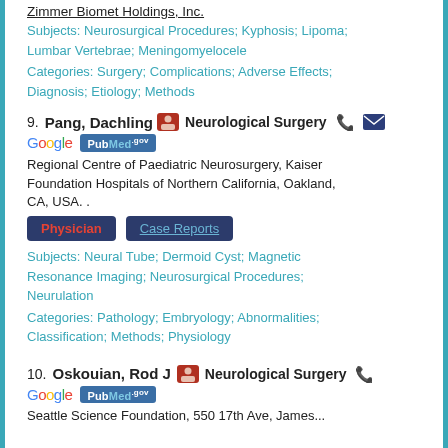Zimmer Biomet Holdings, Inc.
Subjects: Neurosurgical Procedures; Kyphosis; Lipoma; Lumbar Vertebrae; Meningomyelocele
Categories: Surgery; Complications; Adverse Effects; Diagnosis; Etiology; Methods
9. Pang, Dachling — Neurological Surgery
Regional Centre of Paediatric Neurosurgery, Kaiser Foundation Hospitals of Northern California, Oakland, CA, USA. .
Physician | Case Reports
Subjects: Neural Tube; Dermoid Cyst; Magnetic Resonance Imaging; Neurosurgical Procedures; Neurulation
Categories: Pathology; Embryology; Abnormalities; Classification; Methods; Physiology
10. Oskouian, Rod J — Neurological Surgery
Seattle Science Foundation, 550 17th Ave, James...